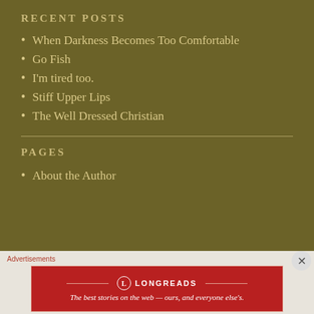RECENT POSTS
When Darkness Becomes Too Comfortable
Go Fish
I'm tired too.
Stiff Upper Lips
The Well Dressed Christian
PAGES
About the Author
Advertisements
[Figure (other): Longreads advertisement banner: 'The best stories on the web — ours, and everyone else's.']